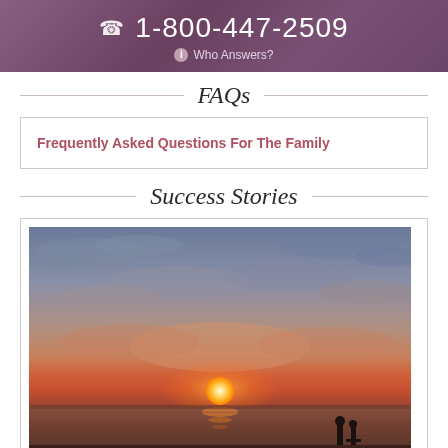1-800-447-2509
Who Answers?
FAQs
Frequently Asked Questions For The Family
Success Stories
[Figure (photo): Sunset over ocean with silhouettes of two people standing in the water, dramatic orange and purple sky with clouds]